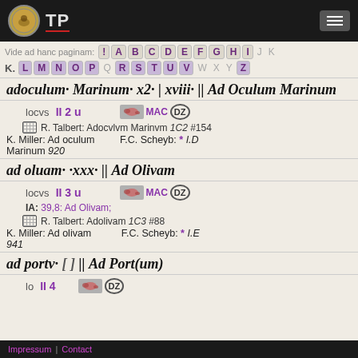TP
Vide ad hanc paginam: ! A B C D E F G H I J K L M N O P Q R S T U V W X Y Z
adoculum· Marinum· x2· | xviii· || Ad Oculum Marinum
locvs II 2 u  MAC DZ
R. Talbert: Adocvlvm Marinvm 1C2 #154
K. Miller: Ad oculum Marinum 920   F.C. Scheyb: * I.D
ad oluam· ·xxx· || Ad Olivam
locvs II 3 u  MAC DZ
IA: 39,8: Ad Olivam;
R. Talbert: Adolivam 1C3 #88
K. Miller: Ad olivam 941   F.C. Scheyb: * I.E
ad portv· [ ] || Ad Port(um)
Impressum | Contact